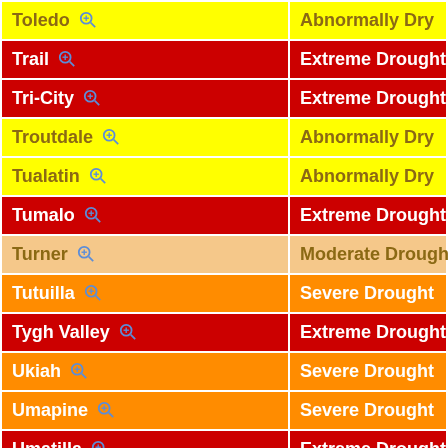| Location | Drought Status |
| --- | --- |
| Toledo | Abnormally Dry |
| Trail | Extreme Drought |
| Tri-City | Extreme Drought |
| Troutdale | Abnormally Dry |
| Tualatin | Abnormally Dry |
| Tumalo | Extreme Drought |
| Turner | Moderate Drought |
| Tutuilla | Severe Drought |
| Tygh Valley | Extreme Drought |
| Ukiah | Severe Drought |
| Umapine | Severe Drought |
| Umatilla | Extreme Drought |
| Umpqua | Severe Drought |
| Union Creek | Extreme Drought |
| Union | Severe Drought |